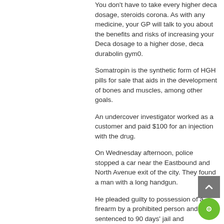You don't have to take every higher deca dosage, steroids corona. As with any medicine, your GP will talk to you about the benefits and risks of increasing your Deca dosage to a higher dose, deca durabolin gym0.
Somatropin is the synthetic form of HGH pills for sale that aids in the development of bones and muscles, among other goals.
An undercover investigator worked as a customer and paid $100 for an injection with the drug.
On Wednesday afternoon, police stopped a car near the Eastbound and North Avenue exit of the city. They found a man with a long handgun.
He pleaded guilty to possession of a firearm by a prohibited person and was sentenced to 90 days' jail and